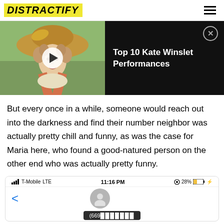DISTRACTIFY
[Figure (screenshot): Video thumbnail showing Kate Winslet in period costume with hat, alongside black panel with text 'Top 10 Kate Winslet Performances' and close button]
But every once in a while, someone would reach out into the darkness and find their number neighbor was actually pretty chill and funny, as was the case for Maria here, who found a good-natured person on the other end who was actually pretty funny.
[Figure (screenshot): iPhone screenshot showing Messages app with T-Mobile LTE carrier, 11:16 PM, 28% battery, contact with phone number starting (669]